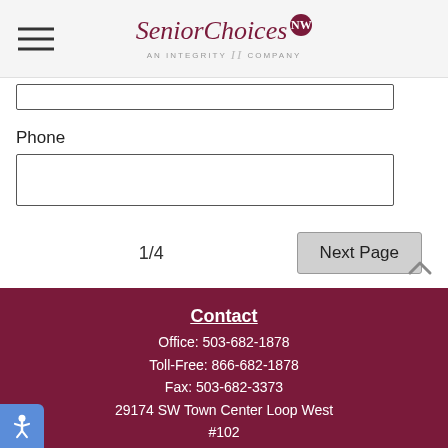SeniorChoices NW — An Integrity Company
(input field — partially visible)
Phone
(phone input field)
1/4
Next Page
Contact
Office: 503-682-1878
Toll-Free: 866-682-1878
Fax: 503-682-3373
29174 SW Town Center Loop West #102
Wilsonville, OR 97070